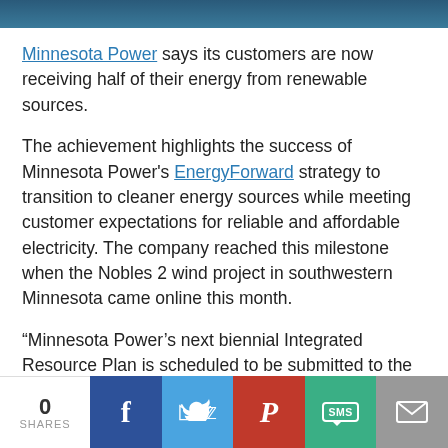[Figure (photo): Dark blue/teal banner image at top of page]
Minnesota Power says its customers are now receiving half of their energy from renewable sources.
The achievement highlights the success of Minnesota Power's EnergyForward strategy to transition to cleaner energy sources while meeting customer expectations for reliable and affordable electricity. The company reached this milestone when the Nobles 2 wind project in southwestern Minnesota came online this month.
“Minnesota Power’s next biennial Integrated Resource Plan is scheduled to be submitted to the Minnesota Public Utilities Commission in February,” says Julie Pierce, vice president of strategy and planning at
[Figure (infographic): Social share bar at bottom with share count (0 SHARES) and buttons for Facebook, Twitter, Pinterest, SMS, and Email]